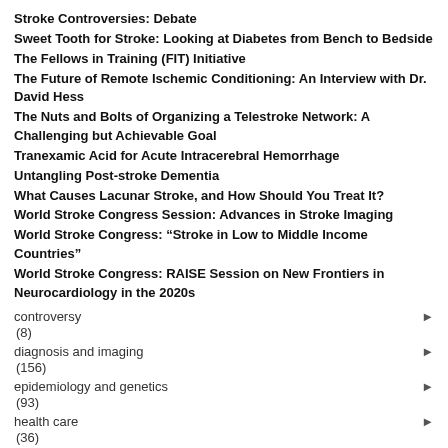Stroke Controversies: Debate
Sweet Tooth for Stroke: Looking at Diabetes from Bench to Bedside
The Fellows in Training (FIT) Initiative
The Future of Remote Ischemic Conditioning: An Interview with Dr. David Hess
The Nuts and Bolts of Organizing a Telestroke Network: A Challenging but Achievable Goal
Tranexamic Acid for Acute Intracerebral Hemorrhage
Untangling Post-stroke Dementia
What Causes Lacunar Stroke, and How Should You Treat It?
World Stroke Congress Session: Advances in Stroke Imaging
World Stroke Congress: “Stroke in Low to Middle Income Countries”
World Stroke Congress: RAISE Session on New Frontiers in Neurocardiology in the 2020s
controversy (8)
diagnosis and imaging (156)
epidemiology and genetics (93)
health care (36)